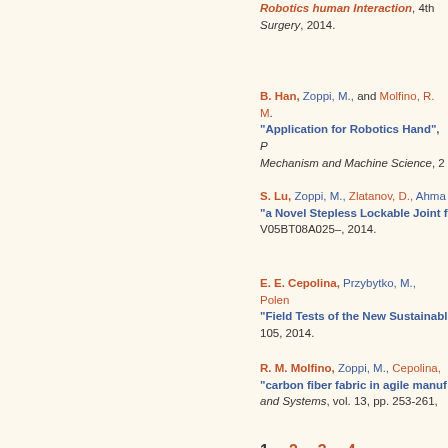Robotics human Interaction, 4th ... Surgery, 2014.
B. Han, Zoppi, M., and Molfino, R. M. "Application for Robotics Hand", Proceedings ... Mechanism and Machine Science, 2...
S. Lu, Zoppi, M., Zlatanov, D., Ahma... "a Novel Stepless Lockable Joint f..." V05BT08A025–, 2014.
E. E. Cepolina, Przybytko, M., Polen... "Field Tests of the New Sustainabl..." 105, 2014.
R. M. Molfino, Zoppi, M., Cepolina, ... "carbon fiber fabric in agile manuf..." and Systems, vol. 13, pp. 253-261, ...
1  2  3  4